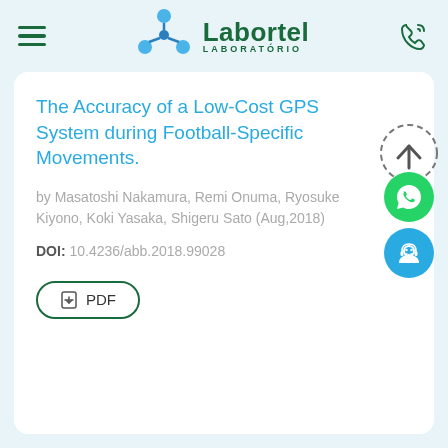Labortel LABORATÓRIO
The Accuracy of a Low-Cost GPS System during Football-Specific Movements.
by Masatoshi Nakamura, Remi Onuma, Ryosuke Kiyono, Koki Yasaka, Shigeru Sato (Aug,2018)
DOI: 10.4236/abb.2018.99028
PDF